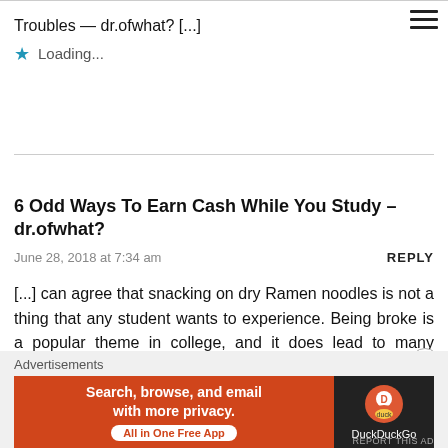Troubles — dr.ofwhat? [...]
Loading...
6 Odd Ways To Earn Cash While You Study – dr.ofwhat?
June 28, 2018 at 7:34 am
REPLY
[...] can agree that snacking on dry Ramen noodles is not a thing that any student wants to experience. Being broke is a popular theme in college, and it does lead to many students doing whatever they can to earn a [...]
Loading...
Advertisements
[Figure (other): DuckDuckGo advertisement banner: 'Search, browse, and email with more privacy. All in One Free App' with DuckDuckGo logo on dark right panel.]